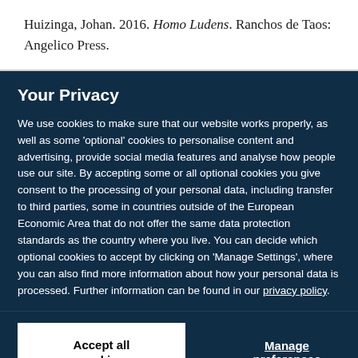Huizinga, Johan. 2016. Homo Ludens. Ranchos de Taos: Angelico Press.
Your Privacy
We use cookies to make sure that our website works properly, as well as some 'optional' cookies to personalise content and advertising, provide social media features and analyse how people use our site. By accepting some or all optional cookies you give consent to the processing of your personal data, including transfer to third parties, some in countries outside of the European Economic Area that do not offer the same data protection standards as the country where you live. You can decide which optional cookies to accept by clicking on 'Manage Settings', where you can also find more information about how your personal data is processed. Further information can be found in our privacy policy.
Accept all cookies
Manage preferences